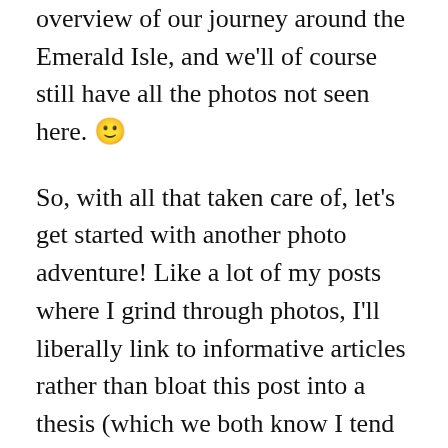overview of our journey around the Emerald Isle, and we'll of course still have all the photos not seen here. 🙂
So, with all that taken care of, let's get started with another photo adventure! Like a lot of my posts where I grind through photos, I'll liberally link to informative articles rather than bloat this post into a thesis (which we both know I tend to do), so please explore those links if something is especially interesting to you.
How does one begin a holiday trip from Iceland? At 2:45am in the rain, of course! No really, 2:45am is when I got up. We had to be